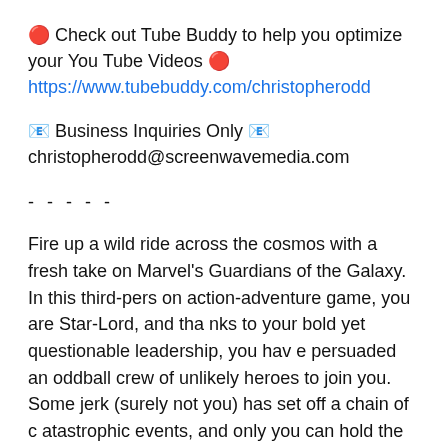🔴 Check out Tube Buddy to help you optimize your You Tube Videos 🔴
https://www.tubebuddy.com/christopherodd
📧 Business Inquiries Only 📧
christopherodd@screenwavemedia.com
- - - - -
Fire up a wild ride across the cosmos with a fresh take on Marvel's Guardians of the Galaxy. In this third-person action-adventure game, you are Star-Lord, and thanks to your bold yet questionable leadership, you have persuaded an oddball crew of unlikely heroes to join you. Some jerk (surely not you) has set off a chain of catastrophic events, and only you can hold the unpredictable Guardians together long enough to fight off total interplanetary meltdown. Use Element Blasters, tag-team boot downs, jet-boot powered dropkicks, nothing's...